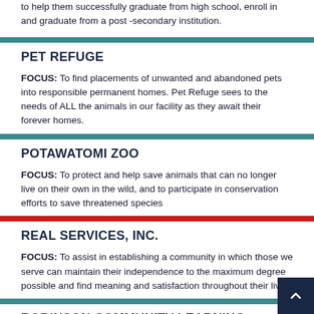to help them successfully graduate from high school, enroll in and graduate from a post-secondary institution.
PET REFUGE
FOCUS: To find placements of unwanted and abandoned pets into responsible permanent homes. Pet Refuge sees to the needs of ALL the animals in our facility as they await their forever homes.
POTAWATOMI ZOO
FOCUS: To protect and help save animals that can no longer live on their own in the wild, and to participate in conservation efforts to save threatened species
REAL SERVICES, INC.
FOCUS: To assist in establishing a community in which those we serve can maintain their independence to the maximum degree possible and find meaning and satisfaction throughout their lives.
ROBINSON COMMUNITY LEARNING CENTER – CELC SITE